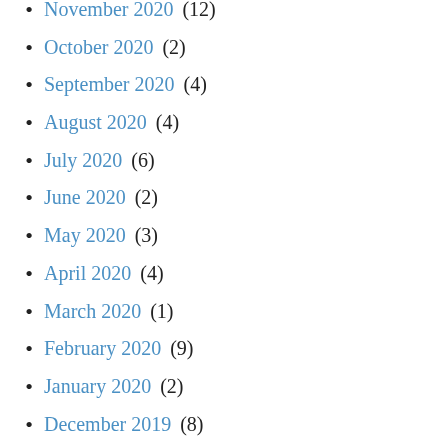November 2020 (12)
October 2020 (2)
September 2020 (4)
August 2020 (4)
July 2020 (6)
June 2020 (2)
May 2020 (3)
April 2020 (4)
March 2020 (1)
February 2020 (9)
January 2020 (2)
December 2019 (8)
November 2019 (2)
October 2019 (5)
September 2019 (5)
August 2019 (6)